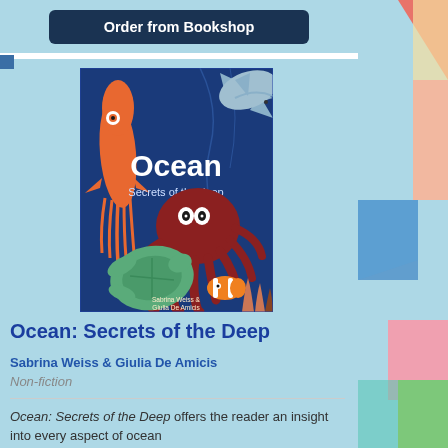Order from Bookshop
[Figure (illustration): Book cover of 'Ocean: Secrets of the Deep' featuring illustrated ocean creatures including a squid, octopus, shark, sea turtle, and clownfish on a dark blue background with coral]
Ocean: Secrets of the Deep
Sabrina Weiss & Giulia De Amicis
Non-fiction
Ocean: Secrets of the Deep offers the reader an insight into every aspect of ocean